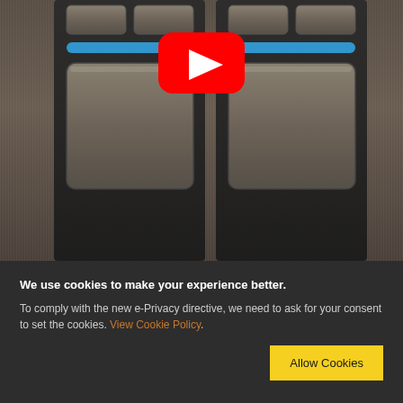[Figure (screenshot): Close-up photo of a dark brushed-metal smart home keypad/switch panel with multiple square rocker buttons and blue LED indicator strips. A YouTube play button overlay (red rectangle with white triangle) is centered on the image.]
We use cookies to make your experience better. To comply with the new e-Privacy directive, we need to ask for your consent to set the cookies. View Cookie Policy. Allow Cookies